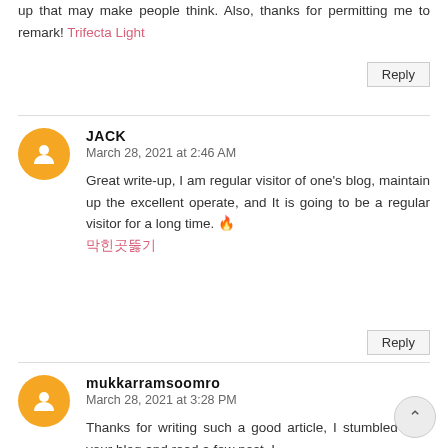up that may make people think. Also, thanks for permitting me to remark! Trifecta Light
JACK
March 28, 2021 at 2:46 AM
Great write-up, I am regular visitor of one's blog, maintain up the excellent operate, and It is going to be a regular visitor for a long time. 🔥
막힌곳뚫기
mukkarramsoomro
March 28, 2021 at 3:28 PM
Thanks for writing such a good article, I stumbled onto your blog and read a few post. I